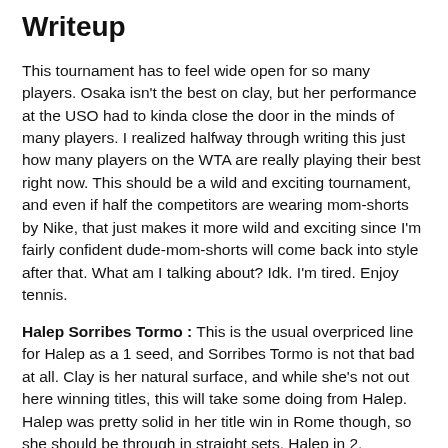Writeup
This tournament has to feel wide open for so many players. Osaka isn't the best on clay, but her performance at the USO had to kinda close the door in the minds of many players. I realized halfway through writing this just how many players on the WTA are really playing their best right now. This should be a wild and exciting tournament, and even if half the competitors are wearing mom-shorts by Nike, that just makes it more wild and exciting since I'm fairly confident dude-mom-shorts will come back into style after that. What am I talking about? Idk. I'm tired. Enjoy tennis.
Halep Sorribes Tormo : This is the usual overpriced line for Halep as a 1 seed, and Sorribes Tormo is not that bad at all. Clay is her natural surface, and while she's not out here winning titles, this will take some doing from Halep. Halep was pretty solid in her title win in Rome though, so she should be through in straight sets. Halep in 2.
Begu Teichmann : Unfortunate spot in the draw and